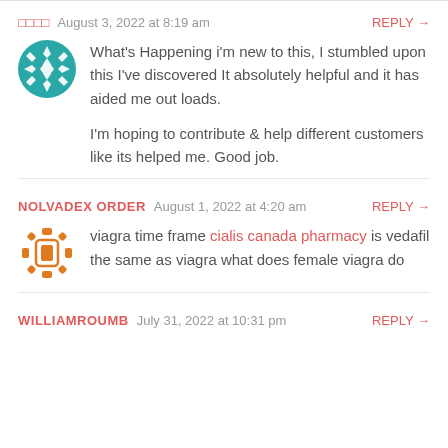□□□□   August 3, 2022 at 8:19 am   REPLY →
What's Happening i'm new to this, I stumbled upon this I've discovered It absolutely helpful and it has aided me out loads.

I'm hoping to contribute & help different customers like its helped me. Good job.
NOLVADEX ORDER   August 1, 2022 at 4:20 am   REPLY →
viagra time frame cialis canada pharmacy is vedafil the same as viagra what does female viagra do
WILLIAMROUMB   July 31, 2022 at 10:31 pm   REPLY →